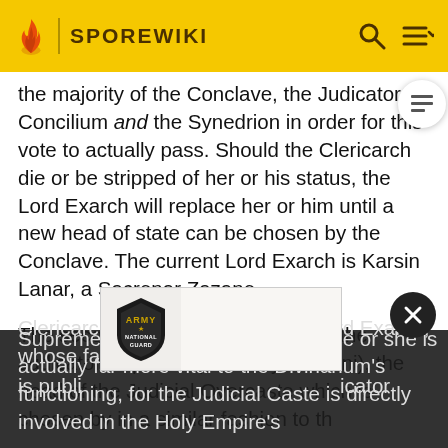SPOREWIKI
the majority of the Conclave, the Judicator Concilium and the Synedrion in order for this vote to actually pass. Should the Clericarch die or be stripped of her or his status, the Lord Exarch will replace her or him until a new head of state can be chosen by the Conclave. The current Lord Exarch is Karsin Lanar, a Sacrenar Zazane.

The second head of government is the Judicator Supreme (currently Frthroni), the head of the Judicial Overcaste which is chosen by in a similar fashion to the Clericarch. In comparison to the Lord Exarch, whose face is publicly known, the Judicator Supreme is an obscure figure, but he or she is actually far more vital to the Divinarium's functioning, for the Judicial Caste is directly involved in the Holy Empire's
[Figure (logo): Army National Guard shield logo in black and gold]